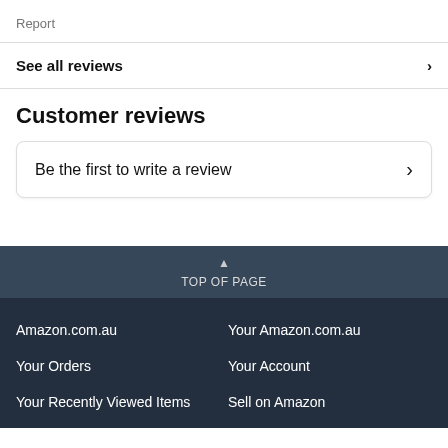Report
See all reviews
Customer reviews
Be the first to write a review
TOP OF PAGE
Amazon.com.au
Your Amazon.com.au
Your Orders
Your Account
Your Recently Viewed Items
Sell on Amazon